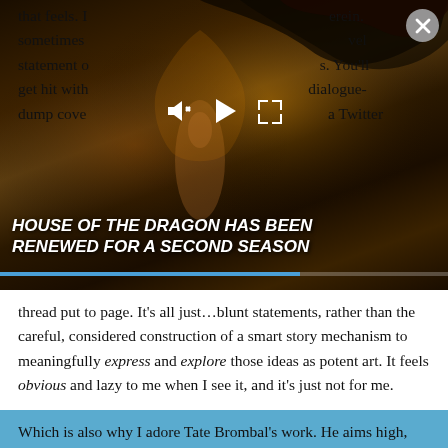[Figure (screenshot): Video player overlay showing a fantasy/dragon scene (House of the Dragon) with playback controls (mute, play, expand), a title banner reading 'HOUSE OF THE DRAGON HAS BEEN RENEWED FOR A SECOND SEASON', a progress bar, and a close (X) button in the top-right corner.]
that feels. I                                          erein. sometimes                                             vel statement o                                             s. You'll get hit with                                           dialogue-dump cove                                           a Twitter thread put to page. It's all just…blunt statements, rather than the careful, considered construction of a smart story mechanism to meaningfully express and explore those ideas as potent art. It feels obvious and lazy to me when I see it, and it's just not for me.
Which is also why I adore Tate Brombal's work. He aims high, the work is deeply, explicitly queer and the way he integrates and uses genre fiction frameworks and setups to speak to very real things like history and queer experience is just so satisfying to me? He gets it. It's no surprise that Tynion, who similarly gets it and makes deeply and explicitly